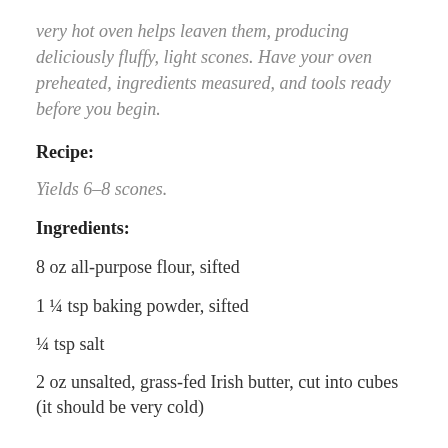very hot oven helps leaven them, producing deliciously fluffy, light scones. Have your oven preheated, ingredients measured, and tools ready before you begin.
Recipe:
Yields 6–8 scones.
Ingredients:
8 oz all-purpose flour, sifted
1 ¼ tsp baking powder, sifted
¼ tsp salt
2 oz unsalted, grass-fed Irish butter, cut into cubes (it should be very cold)